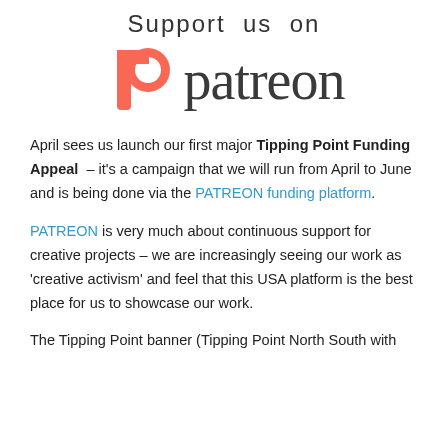[Figure (logo): Patreon logo with orange spiral P icon and 'patreon' wordmark in dark grey, with 'Support us on' text above]
April sees us launch our first major Tipping Point Funding Appeal – it’s a campaign that we will run from April to June and is being done via the PATREON funding platform.
PATREON is very much about continuous support for creative projects – we are increasingly seeing our work as ‘creative activism’ and feel that this USA platform is the best place for us to showcase our work.
The Tipping Point banner (Tipping Point North South with